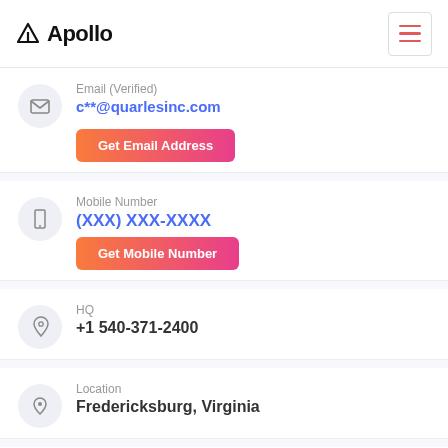Apollo
Email (Verified)
c**@quarlesinc.com
Get Email Address
Mobile Number
(XXX) XXX-XXXX
Get Mobile Number
HQ
+1 540-371-2400
Location
Fredericksburg, Virginia
Company
Quarles Petroleum